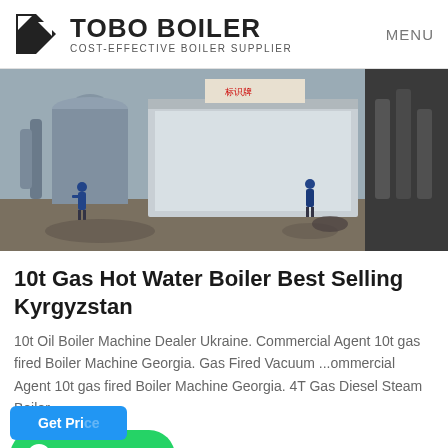TOBO BOILER COST-EFFECTIVE BOILER SUPPLIER MENU
[Figure (photo): Industrial boiler equipment in a factory setting with workers visible. Large silver/metallic boiler units on a concrete floor.]
10t Gas Hot Water Boiler Best Selling Kyrgyzstan
10t Oil Boiler Machine Dealer Ukraine. Commercial Agent 10t gas fired Boiler Machine Georgia. Gas Fired Vacuum ...ommercial Agent 10t gas fired Boiler Machine Georgia. 4T Gas Diesel Steam Boiler -...
[Figure (other): WhatsApp contact button (green rounded button with WhatsApp logo and text 'WhatsApp')]
[Figure (other): Get Price button (blue rounded rectangle, partially visible at bottom)]